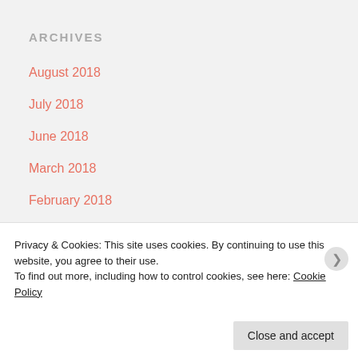ARCHIVES
August 2018
July 2018
June 2018
March 2018
February 2018
January 2018
November 2017
October 2017
Privacy & Cookies: This site uses cookies. By continuing to use this website, you agree to their use.
To find out more, including how to control cookies, see here: Cookie Policy
Close and accept